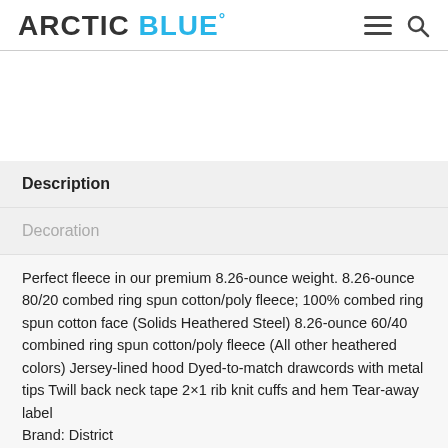ARCTIC BLUE°
Description
Decoration
Perfect fleece in our premium 8.26-ounce weight. 8.26-ounce 80/20 combed ring spun cotton/poly fleece; 100% combed ring spun cotton face (Solids Heathered Steel) 8.26-ounce 60/40 combined ring spun cotton/poly fleece (All other heathered colors) Jersey-lined hood Dyed-to-match drawcords with metal tips Twill back neck tape 2×1 rib knit cuffs and hem Tear-away label
Brand: District
Weight (Shipping): 0.52